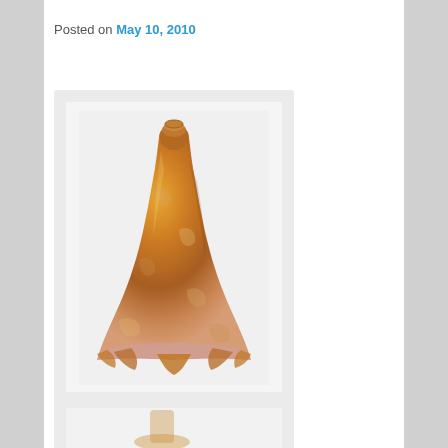Posted on May 10, 2010
[Figure (photo): Tiffany Favrile lily shade with wavy rim — a golden-amber iridescent glass lamp shade shaped like a lily flower with a flared wavy bottom rim]
— Tiffany Favrile lily shade with wavy rim
[Figure (photo): Partial view of a second figure card at the bottom of the page]